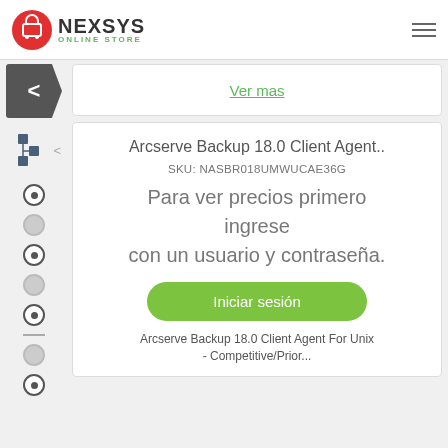[Figure (logo): Nexsys Online Store logo with shopping cart icon in red circle]
[Figure (other): Hamburger menu icon (three horizontal lines) in top right corner]
Ver mas
Arcserve Backup 18.0 Client Agent..
SKU: NASBR018UMWUCAE36G
Para ver precios primero ingrese con un usuario y contraseña.
Iniciar sesión
Arcserve Backup 18.0 Client Agent For Unix - Competitive/Prior...